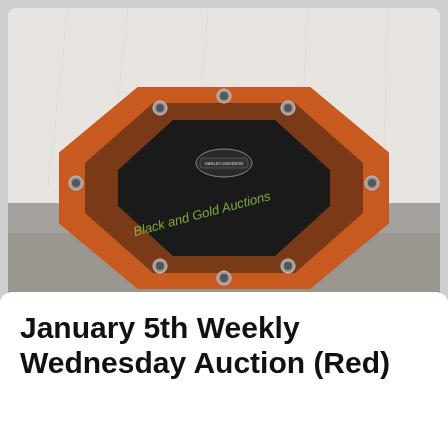[Figure (photo): An octagonal poker table with an orange/red leather padded rail, dark brown wood veneer inner ring, and black felt playing surface with a Harley-Davidson logo. The table has cup holders around the perimeter and sits on a pedestal base. Photo is watermarked 'Black and Gold Auctions' in green text. Background shows a white fabric backdrop and gray concrete floor.]
January 5th Weekly Wednesday Auction (Red)